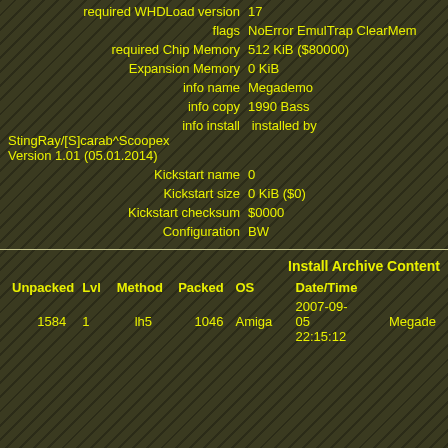required WHDLoad version 17
flags  NoError EmulTrap ClearMem
required Chip Memory  512 KiB ($80000)
Expansion Memory  0 KiB
info name  Megademo
info copy  1990 Bass
info install  installed by StingRay/[S]carab^Scoopex Version 1.01 (05.01.2014)
Kickstart name  0
Kickstart size  0 KiB ($0)
Kickstart checksum  $0000
Configuration  BW
Install Archive Content
| Unpacked | Lvl | Method | Packed | OS | Date/Time |  |
| --- | --- | --- | --- | --- | --- | --- |
| 1584 | 1 | lh5 | 1046 | Amiga | 2007-09-05 22:15:12 | Megade |